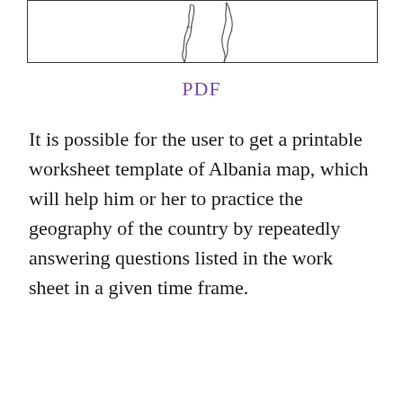[Figure (map): Partial map outline of Albania showing country borders, cropped at top of page]
PDF
It is possible for the user to get a printable worksheet template of Albania map, which will help him or her to practice the geography of the country by repeatedly answering questions listed in the work sheet in a given time frame.